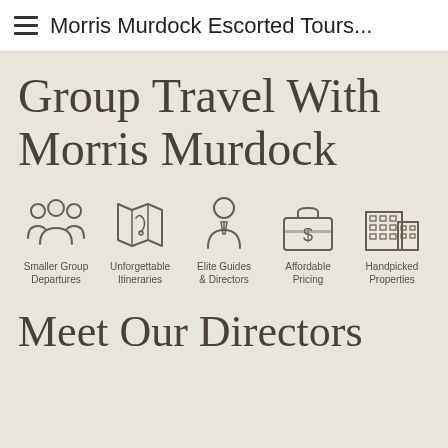Morris Murdock Escorted Tours...
Group Travel With Morris Murdock
[Figure (infographic): Five icons in a row representing: Smaller Group Departures (group of people), Unforgettable Itineraries (map), Elite Guides & Directors (person with tie), Affordable Pricing (briefcase with dollar sign), Handpicked Properties (building/hotel)]
Meet Our Directors